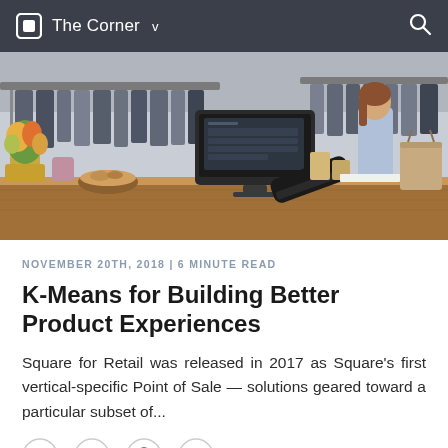The Corner v
[Figure (photo): A retail shop interior showing a Square POS terminal on a wooden counter, clothing racks, flowers, and a customer browsing in the background.]
NOVEMBER 20TH, 2018 | 6 MINUTE READ
K-Means for Building Better Product Experiences
Square for Retail was released in 2017 as Square’s first vertical-specific Point of Sale — solutions geared toward a particular subset of...
[Figure (other): Social sharing icons: Twitter, Facebook, Reddit, LinkedIn]